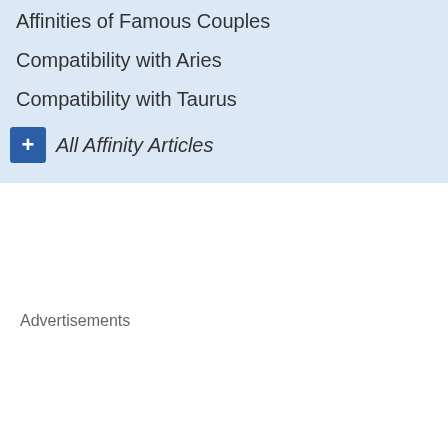Affinities of Famous Couples
Compatibility with Aries
Compatibility with Taurus
+ All Affinity Articles
Placidus system
True North Node
True Lilith  Mean
Astrotheme's shifts
Redraw
URL  https://www.a
BBCode  [img]https://w
Advertisements
* A planet less than 1° from the n said House. 2° when the AS and t
Biography of Jerry Rubin
Jerry Rubin (July 14, 1938 – wing American social activist successful businessman in the
Education
Rubin attended Cincinnati's